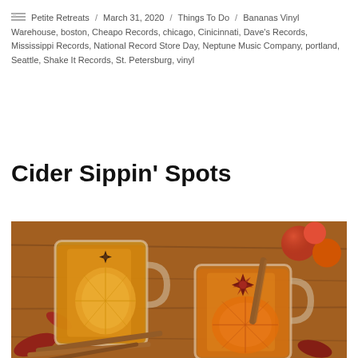Petite Retreats / March 31, 2020 / Things To Do / Bananas Vinyl Warehouse, boston, Cheapo Records, chicago, Cinicinnati, Dave's Records, Mississippi Records, National Record Store Day, Neptune Music Company, portland, Seattle, Shake It Records, St. Petersburg, vinyl
Cider Sippin' Spots
[Figure (photo): Two glass mugs of hot apple cider garnished with star anise, cinnamon sticks, and lemon/orange slices, surrounded by red apples and autumn leaves on a wooden surface.]